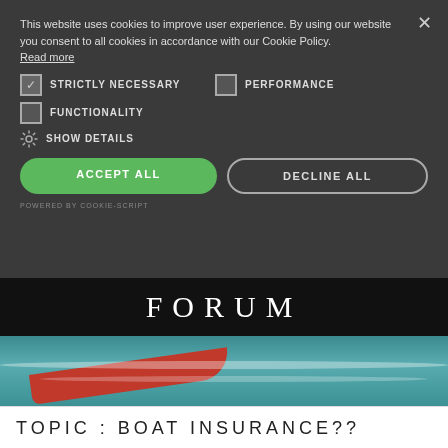This website uses cookies to improve user experience. By using our website you consent to all cookies in accordance with our Cookie Policy. Read more
STRICTLY NECESSARY
PERFORMANCE
FUNCTIONALITY
SHOW DETAILS
ACCEPT ALL
DECLINE ALL
POWERED BY COOKIE-SCRIPT
FORUM
[Figure (photo): Sailing boat with red hull cutting through rough ocean waves]
TOPIC : BOAT INSURANCE??